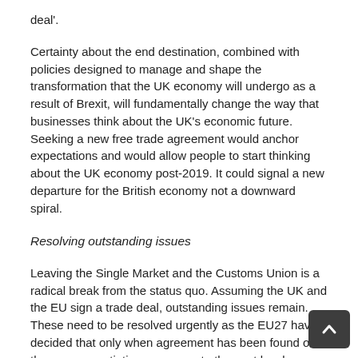deal'.
Certainty about the end destination, combined with policies designed to manage and shape the transformation that the UK economy will undergo as a result of Brexit, will fundamentally change the way that businesses think about the UK's economic future. Seeking a new free trade agreement would anchor expectations and would allow people to start thinking about the UK economy post-2019. It could signal a new departure for the British economy not a downward spiral.
Resolving outstanding issues
Leaving the Single Market and the Customs Union is a radical break from the status quo. Assuming the UK and the EU sign a trade deal, outstanding issues remain. These need to be resolved urgently as the EU27 have decided that only when agreement has been found o[n] them can negotiations progress to the next level.